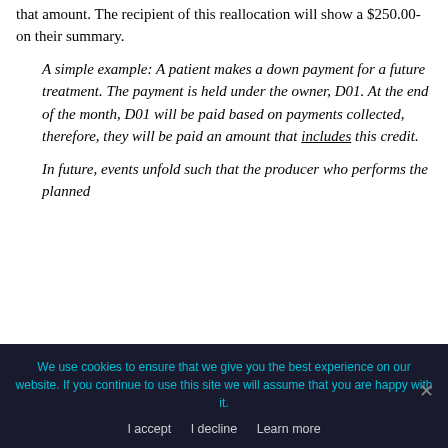that amount. The recipient of this reallocation will show a $250.00- on their summary.
A simple example: A patient makes a down payment for a future treatment. The payment is held under the owner, D01. At the end of the month, D01 will be paid based on payments collected, therefore, they will be paid an amount that includes this credit.
In future, events unfold such that the producer who performs the planned
We use cookies to ensure that we give you the best experience on our website. If you continue to use this site we will assume that you are happy with it.
I accept   I decline   Learn more